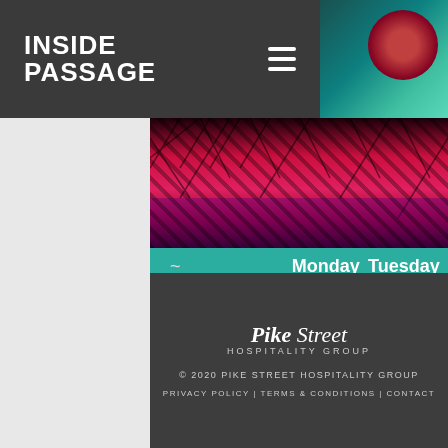INSIDE PASSAGE
[Figure (photo): Red-lit decorative interior with patterned screens, teal accent on right edge with dark circular shape]
|  | Monday | Tuesday |
| --- | --- | --- |
| Daytime Buyout | $2,500 | $2,500 |
Page 1 of 1
|  | Sunday | Monday |
| --- | --- | --- |
| Evening | $5,000 | $2,500 |
Pike Street Hospitality Group
© 2020 PIKE STREET HOSPITALITY GROUP
PRIVACY POLICY | TERMS & CONDITIONS | CONTACT